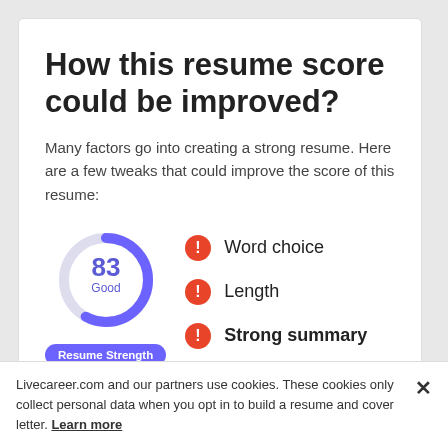How this resume score could be improved?
Many factors go into creating a strong resume. Here are a few tweaks that could improve the score of this resume:
[Figure (donut-chart): Donut chart showing resume score of 83, labeled Good, with Resume Strength badge]
Word choice
Length
Strong summary
Livecareer.com and our partners use cookies. These cookies only collect personal data when you opt in to build a resume and cover letter. Learn more